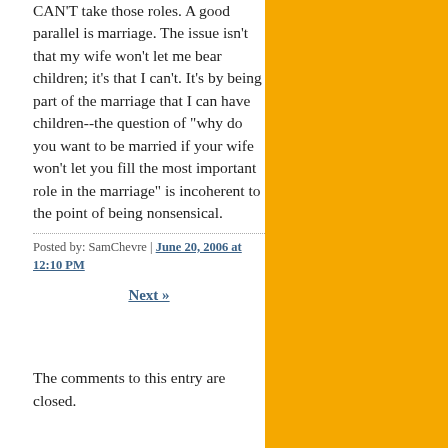CAN'T take those roles. A good parallel is marriage. The issue isn't that my wife won't let me bear children; it's that I can't. It's by being part of the marriage that I can have children--the question of "why do you want to be married if your wife won't let you fill the most important role in the marriage" is incoherent to the point of being nonsensical.
Posted by: SamChevre | June 20, 2006 at 12:10 PM
Next »
The comments to this entry are closed.